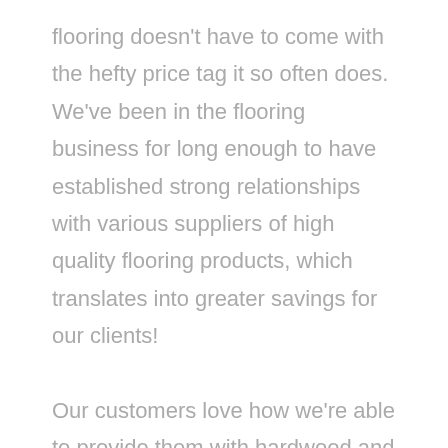flooring doesn't have to come with the hefty price tag it so often does. We've been in the flooring business for long enough to have established strong relationships with various suppliers of high quality flooring products, which translates into greater savings for our clients!

Our customers love how we're able to provide them with hardwood and other flooring materials that are affordable while still being high quality. There's no need to sacrifice quality in order to save a few dollars, when at Poth Property Services Inc you can save and